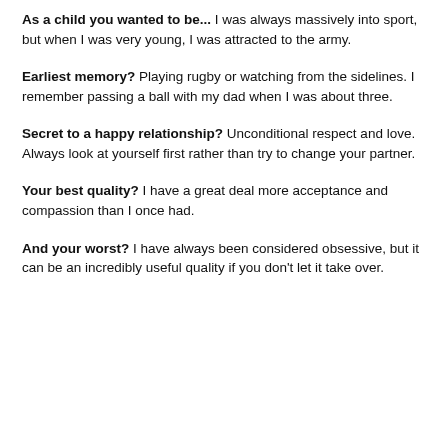As a child you wanted to be... I was always massively into sport, but when I was very young, I was attracted to the army.
Earliest memory? Playing rugby or watching from the sidelines. I remember passing a ball with my dad when I was about three.
Secret to a happy relationship? Unconditional respect and love. Always look at yourself first rather than try to change your partner.
Your best quality? I have a great deal more acceptance and compassion than I once had.
And your worst? I have always been considered obsessive, but it can be an incredibly useful quality if you don't let it take over.